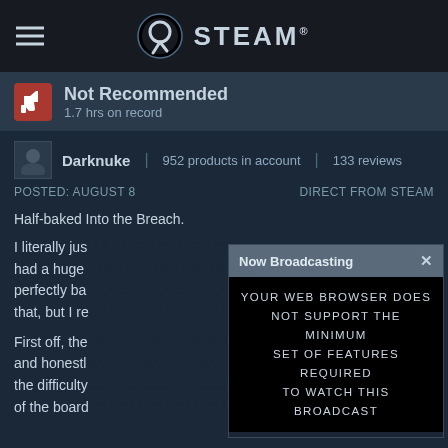STEAM
Not Recommended
1.7 hrs on record
Darknuke | 952 products in account | 133 reviews
POSTED: AUGUST 8
DIRECT FROM STEAM
Half-baked Into the Breach.
I literally jus had a huge d perfectly ba that, but I re
First off, the and honestly the difficulty of the board
[Figure (screenshot): Now Broadcasting modal dialog with black video area displaying error message: YOUR WEB BROWSER DOES NOT SUPPORT THE MINIMUM SET OF FEATURES REQUIRED TO WATCH THIS BROADCAST]